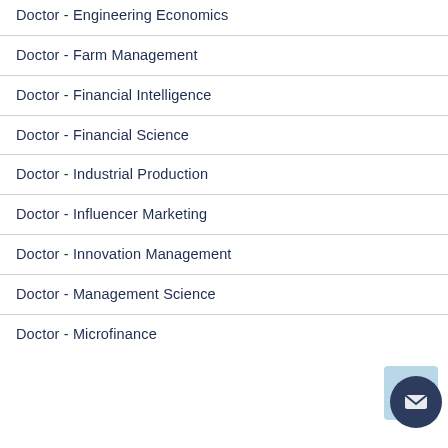Doctor - Engineering Economics
Doctor - Farm Management
Doctor - Financial Intelligence
Doctor - Financial Science
Doctor - Industrial Production
Doctor - Influencer Marketing
Doctor - Innovation Management
Doctor - Management Science
Doctor - Microfinance